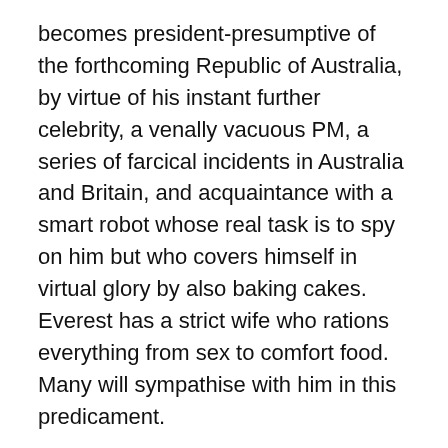becomes president-presumptive of the forthcoming Republic of Australia, by virtue of his instant further celebrity, a venally vacuous PM, a series of farcical incidents in Australia and Britain, and acquaintance with a smart robot whose real task is to spy on him but who covers himself in virtual glory by also baking cakes. Everest has a strict wife who rations everything from sex to comfort food. Many will sympathise with him in this predicament.
Among the walk-on characters in the latest misadventures of Professor Dr Grafton Everest is a large, assertive woman who was once a leading politician and is now Australia's ambassador to the U.S.A., the U.N., Italy and the